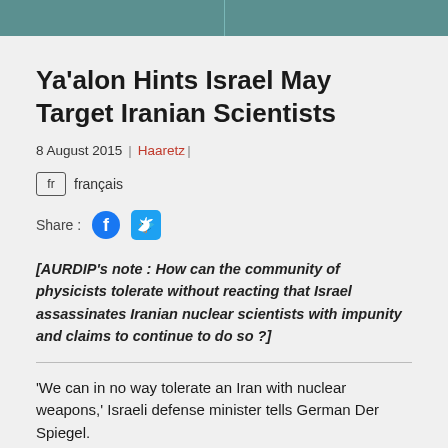Ya’alon Hints Israel May Target Iranian Scientists
8 August 2015 | Haaretz |
fr français
Share :
[AURDIP’s note : How can the community of physicists tolerate without reacting that Israel assassinates Iranian nuclear scientists with impunity and claims to continue to do so ?]
‘We can in no way tolerate an Iran with nuclear weapons,’ Israeli defense minister tells German Der Spiegel.